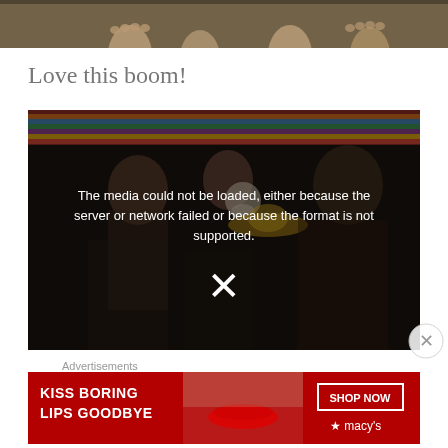[Figure (photo): Cropped bottom portion of a photo showing children sitting, feet visible, outdoor setting with rocky ground]
Love this boom!
[Figure (screenshot): Video player showing error message: 'The media could not be loaded, either because the server or network failed or because the format is not supported.' with an X button overlay. Background shows people at a party holding skull and sombrero props with colorful striped blanket.]
Advertisements
[Figure (photo): Macy's advertisement banner with red background showing 'KISS BORING LIPS GOODBYE' with 'SHOP NOW' button and Macy's star logo, featuring a woman's face with red lipstick]